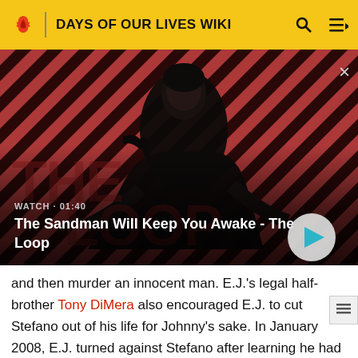DAYS OF OUR LIVES WIKI
[Figure (screenshot): Video thumbnail showing a dark figure with a bird on shoulder against a red and black diagonal striped background. Text overlay: WATCH · 01:40 / The Sandman Will Keep You Awake - The Loop]
and then murder an innocent man. E.J.'s legal half-brother Tony DiMera also encouraged E.J. to cut Stefano out of his life for Johnny's sake. In January 2008, E.J. turned against Stefano after learning he had revived and brainwashed John. Stefano was sent to prison and later